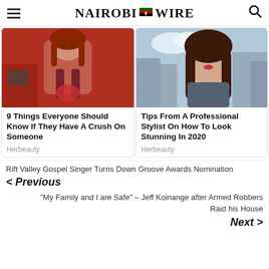Nairobi Wire
[Figure (photo): Woman with red hair crying, holding something red, against a red background]
9 Things Everyone Should Know If They Have A Crush On Someone
Herbeauty
[Figure (photo): Young woman with long brown hair posing outdoors with city buildings in the background]
Tips From A Professional Stylist On How To Look Stunning In 2020
Herbeauty
Rift Valley Gospel Singer Turns Down Groove Awards Nomination
< Previous
“My Family and I are Safe” – Jeff Koinange after Armed Robbers Raid his House
Next >